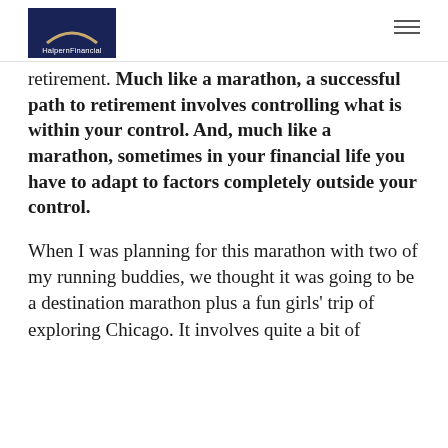HalpernFinancial
retirement. Much like a marathon, a successful path to retirement involves controlling what is within your control. And, much like a marathon, sometimes in your financial life you have to adapt to factors completely outside your control.
When I was planning for this marathon with two of my running buddies, we thought it was going to be a destination marathon plus a fun girls' trip of exploring Chicago. It involves quite a bit of